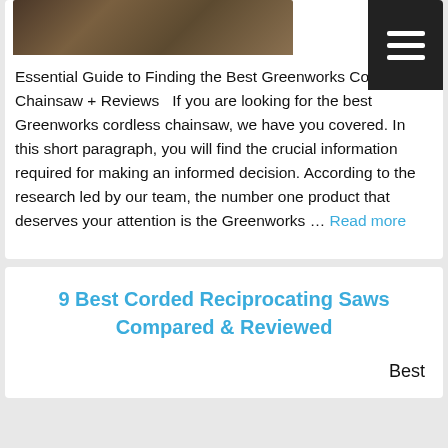[Figure (photo): Partial photo of a chainsaw cutting wood, dark brown sawdust/bark background]
Essential Guide to Finding the Best Greenworks Cordless Chainsaw + Reviews   If you are looking for the best Greenworks cordless chainsaw, we have you covered. In this short paragraph, you will find the crucial information required for making an informed decision. According to the research led by our team, the number one product that deserves your attention is the Greenworks … Read more
9 Best Corded Reciprocating Saws Compared & Reviewed
Best